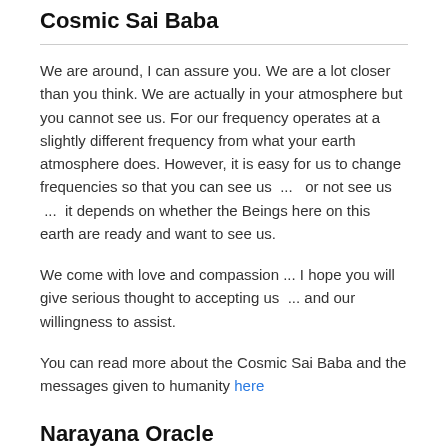Cosmic Sai Baba
We are around, I can assure you. We are a lot closer than you think. We are actually in your atmosphere but you cannot see us. For our frequency operates at a slightly different frequency from what your earth atmosphere does. However, it is easy for us to change frequencies so that you can see us  ...  or not see us  ...  it depends on whether the Beings here on this earth are ready and want to see us.
We come with love and compassion ... I hope you will give serious thought to accepting us  ... and our willingness to assist.
You can read more about the Cosmic Sai Baba and the messages given to humanity here
Narayana Oracle